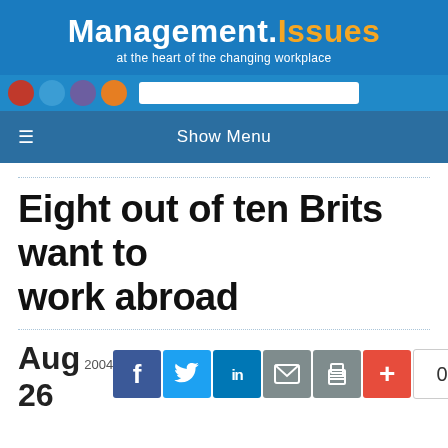Management.Issues — at the heart of the changing workplace
Eight out of ten Brits want to work abroad
Aug 26 2004